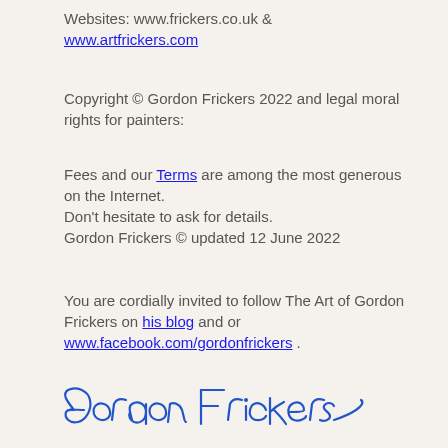Websites: www.frickers.co.uk & www.artfrickers.com
Copyright © Gordon Frickers 2022 and legal moral rights for painters:
Fees and our Terms are among the most generous on the Internet.
Don't hesitate to ask for details.
Gordon Frickers © updated 12 June 2022
You are cordially invited to follow The Art of Gordon Frickers on his blog and or www.facebook.com/gordonfrickers .
[Figure (illustration): Handwritten cursive signature reading 'Gordon Frickers' in blue ink]